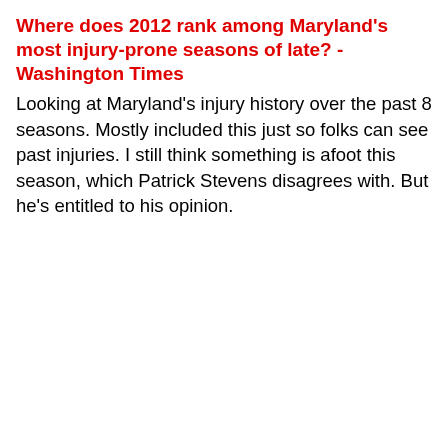Where does 2012 rank among Maryland's most injury-prone seasons of late? - Washington Times
Looking at Maryland's injury history over the past 8 seasons. Mostly included this just so folks can see past injuries. I still think something is afoot this season, which Patrick Stevens disagrees with. But he's entitled to his opinion.